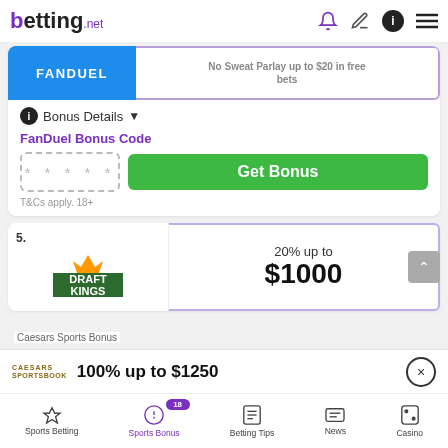betting.net
FANDUEL
No Sweat Parlay up to $20 in free bets
Bonus Details
FanDuel Bonus Code
* * * * *
Get Bonus
T&Cs apply. 18+
5.
20% up to
$1000
Caesars Sports Bonus
100% up to $1250
Sports Betting | Sports Bonus | Betting Tips | News | Casino